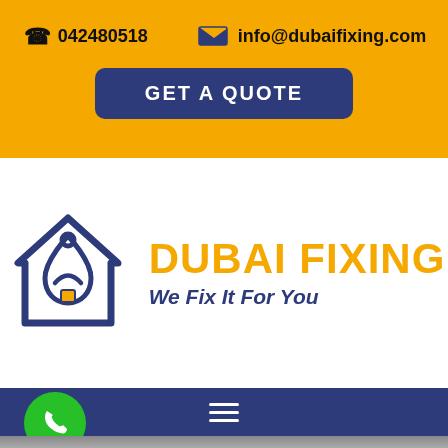042480518
info@dubaifixing.com
GET A QUOTE
[Figure (logo): Dubai Fixing logo with house/wrench icon in dark blue, company name DUBAI FIXING in yellow bold text and tagline We Fix It For You in dark blue italic]
[Figure (other): Dark blue navigation bar with hamburger menu icon and green phone call button]